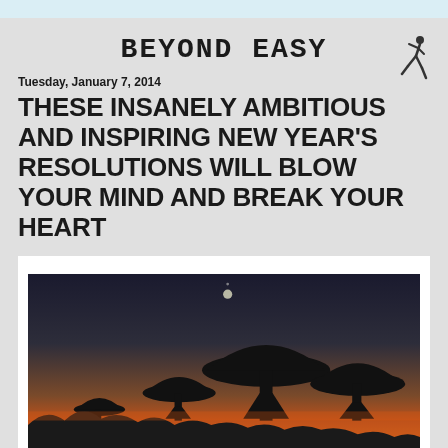BEYOND EASY
Tuesday, January 7, 2014
THESE INSANELY AMBITIOUS AND INSPIRING NEW YEAR'S RESOLUTIONS WILL BLOW YOUR MIND AND BREAK YOUR HEART
[Figure (photo): Silhouette of large radio telescope dishes against a sunset sky with orange horizon and dark upper sky, with a moon or planet visible near the top]